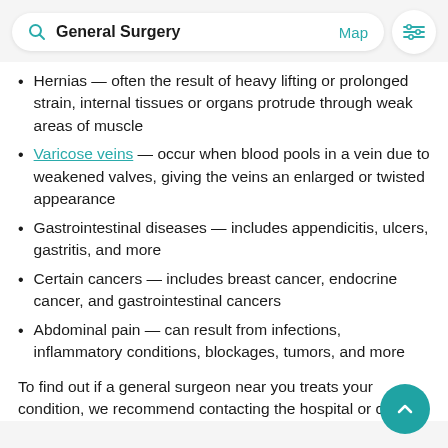General Surgery  Map
Hernias — often the result of heavy lifting or prolonged strain, internal tissues or organs protrude through weak areas of muscle
Varicose veins — occur when blood pools in a vein due to weakened valves, giving the veins an enlarged or twisted appearance
Gastrointestinal diseases — includes appendicitis, ulcers, gastritis, and more
Certain cancers — includes breast cancer, endocrine cancer, and gastrointestinal cancers
Abdominal pain — can result from infections, inflammatory conditions, blockages, tumors, and more
To find out if a general surgeon near you treats your condition, we recommend contacting the hospital or clinic